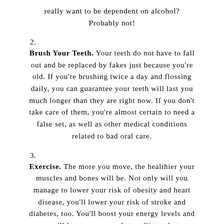really want to be dependent on alcohol? Probably not!
2.
Brush Your Teeth. Your teeth do not have to fall out and be replaced by fakes just because you're old. If you're brushing twice a day and flossing daily, you can guarantee your teeth will last you much longer than they are right now. If you don't take care of them, you're almost certain to need a false set, as well as other medical conditions related to bad oral care.
3.
Exercise. The more you move, the healthier your muscles and bones will be. Not only will you manage to lower your risk of obesity and heart disease, you'll lower your risk of stroke and diabetes, too. You'll boost your energy levels and you'll boost your mood, too. Given that